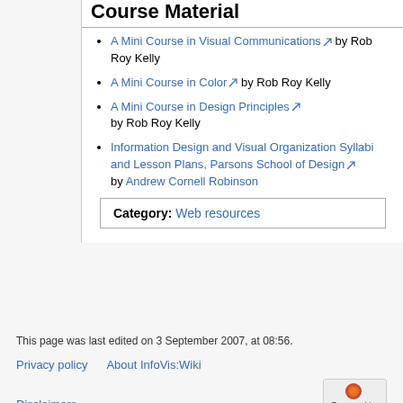Course Material
A Mini Course in Visual Communications by Rob Roy Kelly
A Mini Course in Color by Rob Roy Kelly
A Mini Course in Design Principles by Rob Roy Kelly
Information Design and Visual Organization Syllabi and Lesson Plans, Parsons School of Design by Andrew Cornell Robinson
Category:  Web resources
This page was last edited on 3 September 2007, at 08:56.
Privacy policy   About InfoVis:Wiki
Disclaimers